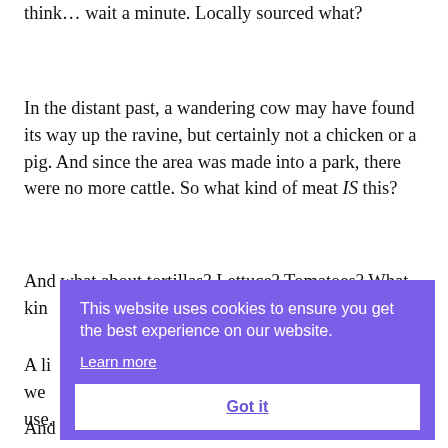think… wait a minute. Locally sourced what?
In the distant past, a wandering cow may have found its way up the ravine, but certainly not a chicken or a pig. And since the area was made into a park, there were no more cattle. So what kind of meat IS this?
And what about tortillas? Lettuce? Tomatoes? What kind
A li we use.
[Figure (screenshot): Cookie consent overlay with purple background. Text reads: 'This website uses cookies to ensure you get the best experience on our website.' with a 'Learn more' link and a white 'Got it' button.]
And there we sat at the end of the evening, another days